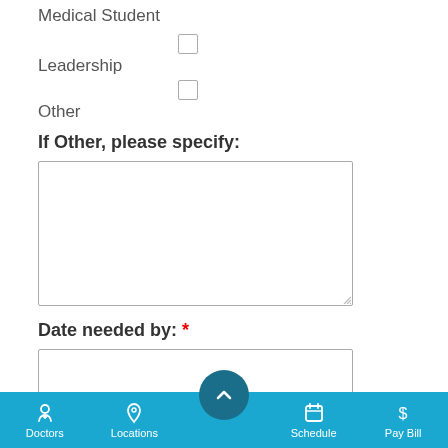Medical Student
Leadership (checkbox)
Other (checkbox)
If Other, please specify:
Date needed by: *
Doctors | Locations | Back to Top | Schedule | Pay Bill